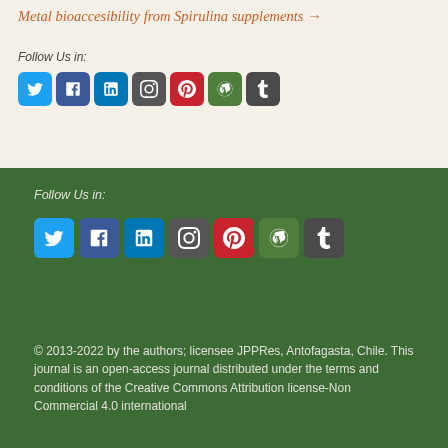Metal bioaccesibility from Spirulina supplements →
Follow Us in:
[Figure (other): Row of 7 social media icon buttons: Twitter, Facebook, LinkedIn, Instagram, Pinterest, WordPress, Tumblr (light background section)]
Follow Us in:
[Figure (other): Row of 7 social media icon buttons: Twitter, Facebook, LinkedIn, Instagram, Pinterest, WordPress, Tumblr (dark green background section)]
© 2013-2022 by the authors; licensee JPPRes, Antofagasta, Chile. This journal is an open-access journal distributed under the terms and conditions of the Creative Commons Attribution license-Non Commercial 4.0 international